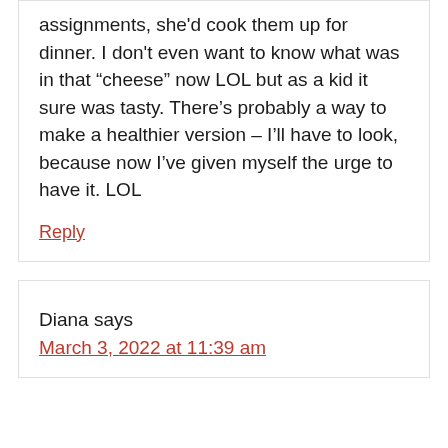assignments, she'd cook them up for dinner. I don't even want to know what was in that “cheese” now LOL but as a kid it sure was tasty. There’s probably a way to make a healthier version – I’ll have to look, because now I’ve given myself the urge to have it. LOL
Reply
Diana says
March 3, 2022 at 11:39 am